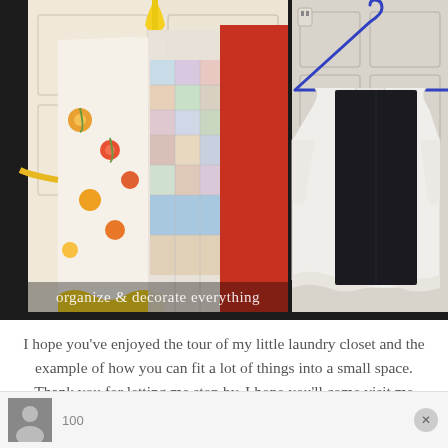[Figure (photo): Two side-by-side photos showing laundry closet organization. Left photo shows colorful aprons hanging on a door — including a floral print apron with yellow ruffles, a patchwork apron, and a red apron. Right photo shows a white blouse and dark pants hanging on a blue hanger on a closet door. Watermark reads 'organize & decorate everything'.]
I hope you've enjoyed the tour of my little laundry closet and the example of how you can fit a lot of things into a small space. Thank you for letting me stop by. I hope you'll come visit me soon.
[Figure (screenshot): Comment bar at bottom showing a user avatar thumbnail, comment count '100', and a close (X) button.]